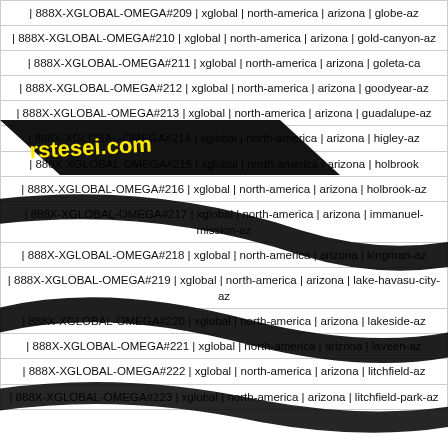| | 888X-XGLOBAL-OMEGA#209 | xglobal | north-america | arizona | globe-az |
| | 888X-XGLOBAL-OMEGA#210 | xglobal | north-america | arizona | gold-canyon-az |
| | 888X-XGLOBAL-OMEGA#211 | xglobal | north-america | arizona | goleta-ca |
| | 888X-XGLOBAL-OMEGA#212 | xglobal | north-america | arizona | goodyear-az |
| | 888X-XGLOBAL-OMEGA#213 | xglobal | north-america | arizona | guadalupe-az |
| | 888X-XGLOBAL-OMEGA#214 | xglobal | north-america | arizona | higley-az |
| | 888X-XGLOBAL-OMEGA#215 | xglobal | north-america | arizona | holbrook |
| | 888X-XGLOBAL-OMEGA#216 | xglobal | north-america | arizona | holbrook-az |
| | 888X-XGLOBAL-OMEGA#217 | xglobal | north-america | arizona | immanuel-mission-az |
| | 888X-XGLOBAL-OMEGA#218 | xglobal | north-america | arizona | kingman-az |
| | 888X-XGLOBAL-OMEGA#219 | xglobal | north-america | arizona | lake-havasu-city-az |
| | 888X-XGLOBAL-OMEGA#220 | xglobal | north-america | arizona | lakeside-az |
| | 888X-XGLOBAL-OMEGA#221 | xglobal | north-america | arizona | laveen-az |
| | 888X-XGLOBAL-OMEGA#222 | xglobal | north-america | arizona | litchfield-az |
| | 888X-XGLOBAL-OMEGA#223 | xglobal | north-america | arizona | litchfield-park-az |